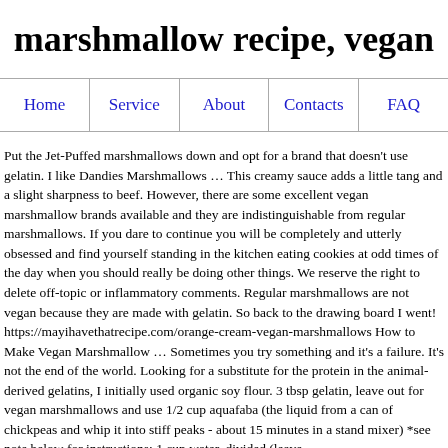marshmallow recipe, vegan
| Home | Service | About | Contacts | FAQ |
| --- | --- | --- | --- | --- |
Put the Jet-Puffed marshmallows down and opt for a brand that doesn't use gelatin. I like Dandies Marshmallows … This creamy sauce adds a little tang and a slight sharpness to beef. However, there are some excellent vegan marshmallow brands available and they are indistinguishable from regular marshmallows. If you dare to continue you will be completely and utterly obsessed and find yourself standing in the kitchen eating cookies at odd times of the day when you should really be doing other things. We reserve the right to delete off-topic or inflammatory comments. Regular marshmallows are not vegan because they are made with gelatin. So back to the drawing board I went! https://mayihavethatrecipe.com/orange-cream-vegan-marshmallows How to Make Vegan Marshmallow … Sometimes you try something and it's a failure. It's not the end of the world. Looking for a substitute for the protein in the animal-derived gelatins, I initially used organic soy flour. 3 tbsp gelatin, leave out for vegan marshmallows and use 1/2 cup aquafaba (the liquid from a can of chickpeas and whip it into stiff peaks - about 15 minutes in a stand mixer) *see note below for instructions; 1 cup water, divided (leave out for vegan marshmallows) 1/2 cup aquafaba ForKat...